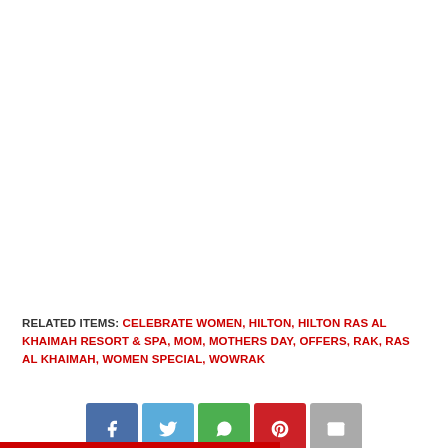RELATED ITEMS: CELEBRATE WOMEN, HILTON, HILTON RAS AL KHAIMAH RESORT & SPA, MOM, MOTHERS DAY, OFFERS, RAK, RAS AL KHAIMAH, WOMEN SPECIAL, WOWRAK
[Figure (other): Social sharing buttons row: Facebook (blue), Twitter (light blue), WhatsApp (green), Pinterest (red), Email (grey)]